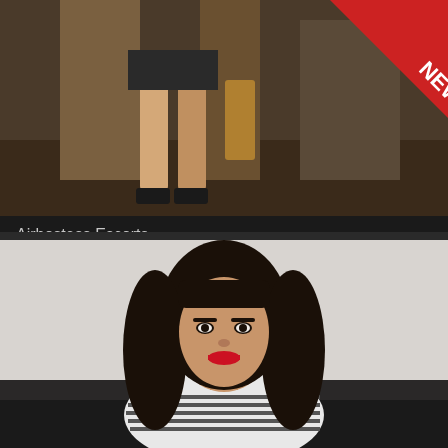[Figure (photo): Photo of escort - lower body/legs visible with a 'NEW' badge in the top right corner]
Airhostess Escorts
Age 26
Baani Bangalore Escorts
[Figure (photo): Portrait photo of a young woman with long dark curly hair, red lipstick, wearing a striped top, seated]